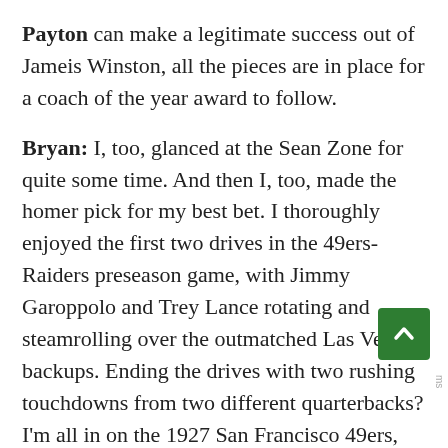Payton can make a legitimate success out of Jameis Winston, all the pieces are in place for a coach of the year award to follow.
Bryan: I, too, glanced at the Sean Zone for quite some time. And then I, too, made the homer pick for my best bet. I thoroughly enjoyed the first two drives in the 49ers-Raiders preseason game, with Jimmy Garoppolo and Trey Lance rotating and steamrolling over the outmatched Las Vegas backups. Ending the drives with two rushing touchdowns from two different quarterbacks? I'm all in on the 1927 San Francisco 49ers, thank you very much. If that offense takes off, is fun and successful all year long, and the 49ers win the division, I think Kyle Shanahan gets a lot of credit for managing the quarterback situation. Assuming, of course, he's alive at the end of the season, which no one can guarantee. At the least, it's more